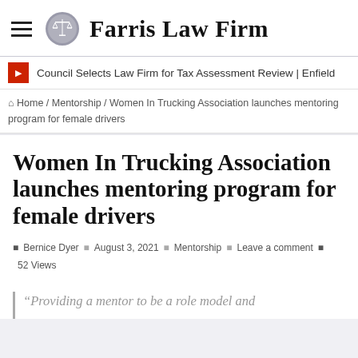Farris Law Firm
Council Selects Law Firm for Tax Assessment Review | Enfield
Home / Mentorship / Women In Trucking Association launches mentoring program for female drivers
Women In Trucking Association launches mentoring program for female drivers
Bernice Dyer  |  August 3, 2021  |  Mentorship  |  Leave a comment  |  52 Views
“Providing a mentor to be a role model and